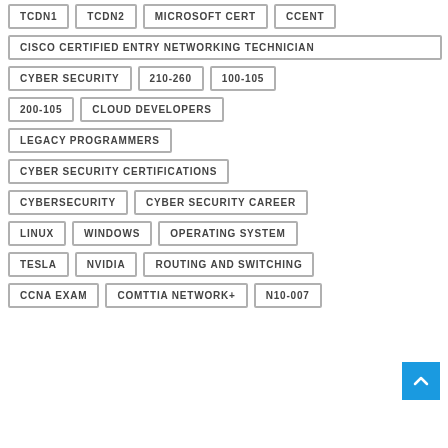TCDN1
TCDN2
MICROSOFT CERT
CCENT
CISCO CERTIFIED ENTRY NETWORKING TECHNICIAN
CYBER SECURITY
210-260
100-105
200-105
CLOUD DEVELOPERS
LEGACY PROGRAMMERS
CYBER SECURITY CERTIFICATIONS
CYBERSECURITY
CYBER SECURITY CAREER
LINUX
WINDOWS
OPERATING SYSTEM
TESLA
NVIDIA
ROUTING AND SWITCHING
CCNA EXAM
COMTTIA NETWORK+
N10-007